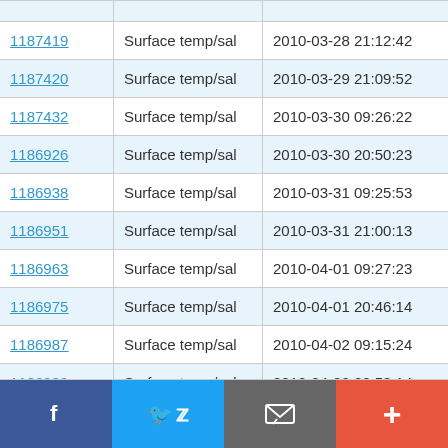| ID | Type | Datetime | Lat |
| --- | --- | --- | --- |
| 1187419 | Surface temp/sal | 2010-03-28 21:12:42 | 53.337 N |
| 1187420 | Surface temp/sal | 2010-03-29 21:09:52 | 53.329 N |
| 1187432 | Surface temp/sal | 2010-03-30 09:26:22 | 53.337 N |
| 1186926 | Surface temp/sal | 2010-03-30 20:50:23 | 53.329 N |
| 1186938 | Surface temp/sal | 2010-03-31 09:25:53 | 53.337 N |
| 1186951 | Surface temp/sal | 2010-03-31 21:00:13 | 53.33 N |
| 1186963 | Surface temp/sal | 2010-04-01 09:27:23 | 53.337 N |
| 1186975 | Surface temp/sal | 2010-04-01 20:46:14 | 53.33 N |
| 1186987 | Surface temp/sal | 2010-04-02 09:15:24 | 53.337 N |
| 1186999 | Surface temp/sal | 2010-04-02 20:53:14 | 53.329 N |